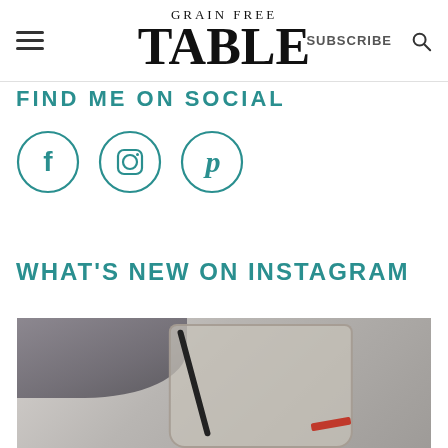GRAIN FREE TABLE — SUBSCRIBE
FIND ME ON SOCIAL
[Figure (illustration): Three social media icons in teal circles: Facebook (f), Instagram (camera), Pinterest (p)]
WHAT'S NEW ON INSTAGRAM
[Figure (photo): Close-up photo of a glass jar with a black spoon, a red utensil, and a grey cloth napkin in the background]